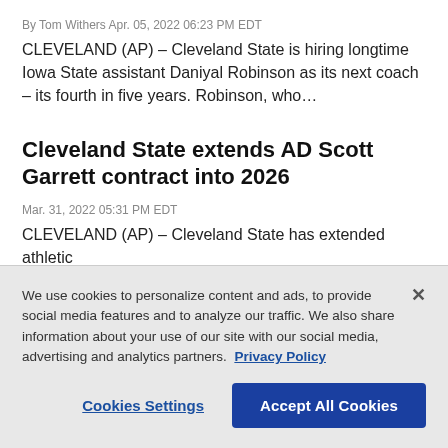By Tom Withers Apr. 05, 2022 06:23 PM EDT
CLEVELAND (AP) – Cleveland State is hiring longtime Iowa State assistant Daniyal Robinson as its next coach – its fourth in five years. Robinson, who…
Cleveland State extends AD Scott Garrett contract into 2026
Mar. 31, 2022 05:31 PM EDT
CLEVELAND (AP) – Cleveland State has extended athletic
We use cookies to personalize content and ads, to provide social media features and to analyze our traffic. We also share information about your use of our site with our social media, advertising and analytics partners. Privacy Policy
Cookies Settings
Accept All Cookies